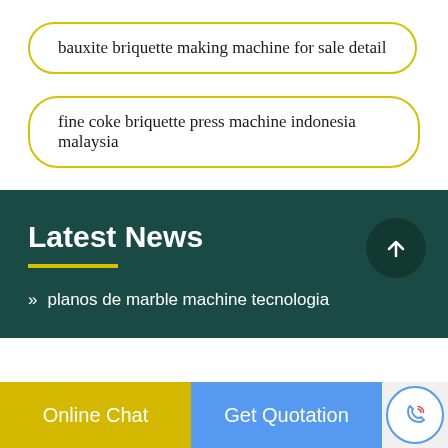bauxite briquette making machine for sale detail
fine coke briquette press machine indonesia malaysia
Latest News
planos de marble machine tecnologia
Online Chat
Get Quotation